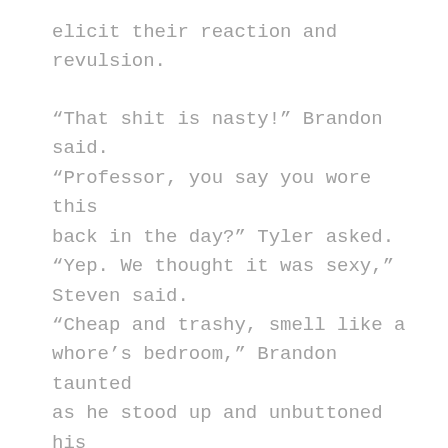elicit their reaction and revulsion.

“That shit is nasty!” Brandon said.
“Professor, you say you wore this back in the day?” Tyler asked.
“Yep. We thought it was sexy,” Steven said.
“Cheap and trashy, smell like a whore’s bedroom,” Brandon taunted as he stood up and unbuttoned his pajama top and threw it on the floor. Tyler grabbed the English